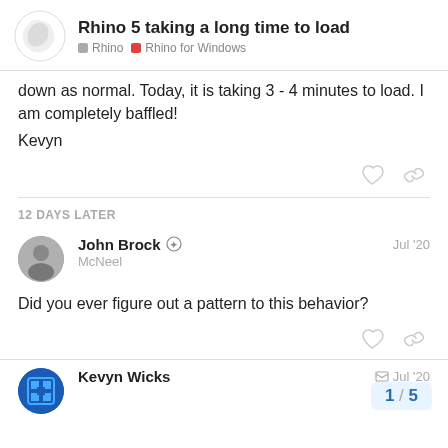Rhino 5 taking a long time to load | Rhino | Rhino for Windows
down as normal. Today, it is taking 3 - 4 minutes to load. I am completely baffled!
Kevyn
12 DAYS LATER
John Brock  McNeel  Jul '20
Did you ever figure out a pattern to this behavior?
Kevyn Wicks  Jul '20
1 / 5